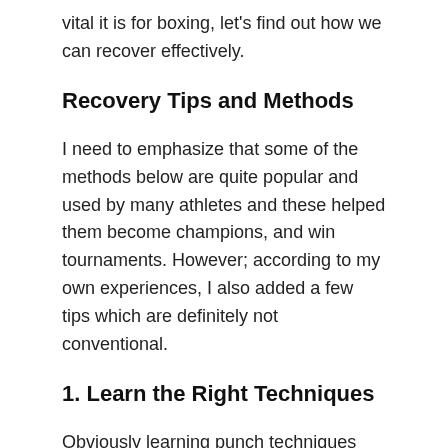vital it is for boxing, let’s find out how we can recover effectively.
Recovery Tips and Methods
I need to emphasize that some of the methods below are quite popular and used by many athletes and these helped them become champions, and win tournaments. However; according to my own experiences, I also added a few tips which are definitely not conventional.
1. Learn the Right Techniques
Obviously learning punch techniques and having a good stance is crucial in boxing but many people don’t even realize they have a shitty form or average technique and they go to boxing classes